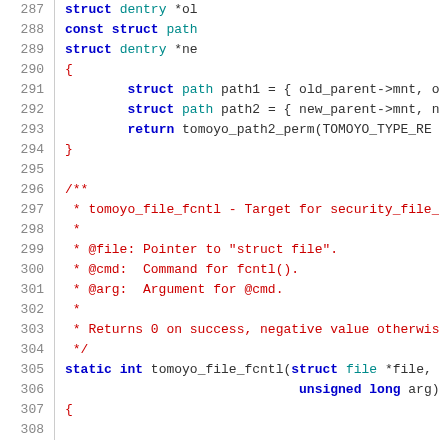Code listing lines 287-307, C source code for tomoyo_file_fcntl function
287     struct dentry *ol
288     const struct path
289     struct dentry *ne
290 {
291     struct path path1 = { old_parent->mnt, o
292     struct path path2 = { new_parent->mnt, n
293     return tomoyo_path2_perm(TOMOYO_TYPE_RE
294 }
295
296 /**
297  * tomoyo_file_fcntl - Target for security_file_
298  *
299  * @file: Pointer to "struct file".
300  * @cmd:  Command for fcntl().
301  * @arg:  Argument for @cmd.
302  *
303  * Returns 0 on success, negative value otherwis
304  */
305 static int tomoyo_file_fcntl(struct file *file,
306                               unsigned long arg)
307 {